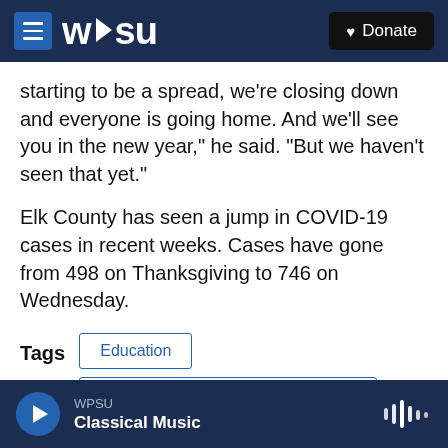WPSU | Donate
starting to be a spread, we're closing down and everyone is going home. And we'll see you in the new year," he said. "But we haven't seen that yet."
Elk County has seen a jump in COVID-19 cases in recent weeks. Cases have gone from 498 on Thanksgiving to 746 on Wednesday.
Tags: Education | State College Area School District | McKean County | Elk County
WPSU Classical Music